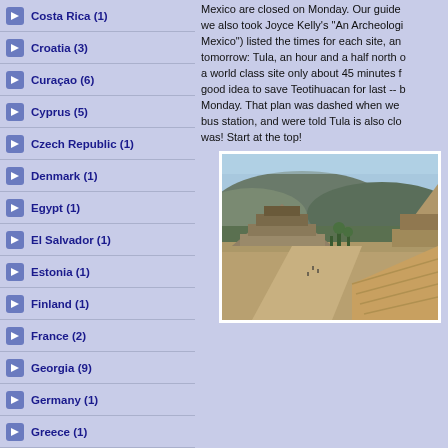Costa Rica (1)
Croatia (3)
Curaçao (6)
Cyprus (5)
Czech Republic (1)
Denmark (1)
Egypt (1)
El Salvador (1)
Estonia (1)
Finland (1)
France (2)
Georgia (9)
Germany (1)
Greece (1)
Grenada (1)
Guatemala (1)
Honduras (1)
Mexico are closed on Monday. Our guide... we also took Joyce Kelly's "An Archeologi... Mexico") listed the times for each site, an... tomorrow: Tula, an hour and a half north o... a world class site only about 45 minutes f... good idea to save Teotihuacan for last -- b... Monday. That plan was dashed when we ... bus station, and were told Tula is also clo... was! Start at the top!
[Figure (photo): Aerial view of Teotihuacan archaeological site in Mexico, showing the Avenue of the Dead with pyramids and mountains in the background]